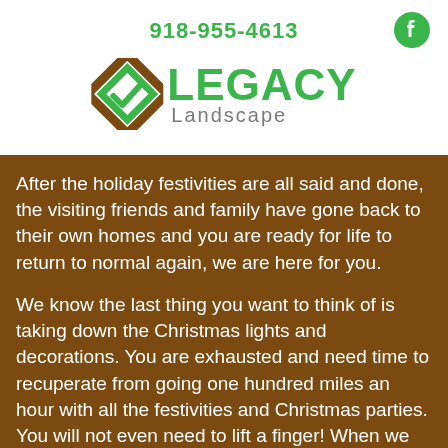918-955-4613
[Figure (logo): Legacy Landscape logo with green and brown diamond/checkmark icon and green LEGACY text with gray Landscape subtitle]
After the holiday festivities are all said and done, the visiting friends and family have gone back to their own homes and you are ready for life to return to normal again, we are here for you.
We know the last thing you want to think of is taking down the Christmas lights and decorations. You are exhausted and need time to recuperate from going one hundred miles an hour with all the festivities and Christmas parties. You will not even need to lift a finger! When we take down lights at the end of the season, we use an easy and proven system to assure